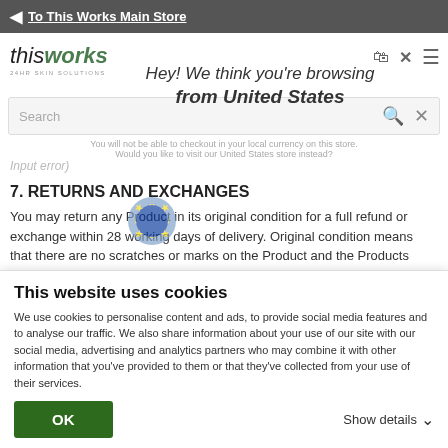◄ To This Works Main Store
[Figure (logo): thisworks 24HR SKIN SOLUTIONS logo]
Hey! We think you're browsing from United States
You will not be able to checkout in your local currency on this store. Would you like to visit our United States store instead?
Input error)
7. RETURNS AND EXCHANGES
You may return any Product in its original condition for a full refund or exchange within 28 working days of delivery. Original condition means that there are no scratches or marks on the Product and the Products packaging has not been opened or
This website uses cookies
We use cookies to personalise content and ads, to provide social media features and to analyse our traffic. We also share information about your use of our site with our social media, advertising and analytics partners who may combine it with other information that you've provided to them or that they've collected from your use of their services.
OK
Show details